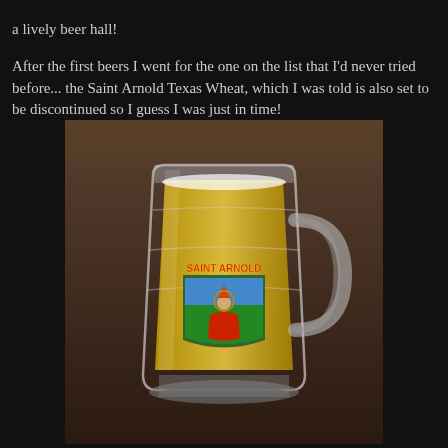a lively beer hall!
After the first beers I went for the one on the list that I'd never tried before... the Saint Arnold Texas Wheat, which I was told is also set to be discontinued so I guess I was just in time!
[Figure (photo): A glass beer mug filled with golden wheat beer, featuring the Saint Arnold Brewing Company logo on the front, sitting on a wooden table in what appears to be a beer hall setting.]